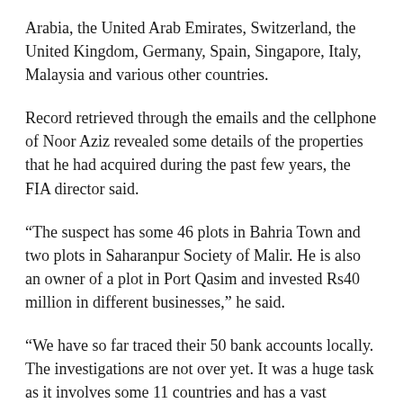Arabia, the United Arab Emirates, Switzerland, the United Kingdom, Germany, Spain, Singapore, Italy, Malaysia and various other countries.
Record retrieved through the emails and the cellphone of Noor Aziz revealed some details of the properties that he had acquired during the past few years, the FIA director said.
“The suspect has some 46 plots in Bahria Town and two plots in Saharanpur Society of Malir. He is also an owner of a plot in Port Qasim and invested Rs40 million in different businesses,” he said.
“We have so far traced their 50 bank accounts locally. The investigations are not over yet. It was a huge task as it involves some 11 countries and has a vast spectrum. It requires detailed investigation that may take extraordinary time,” he added.